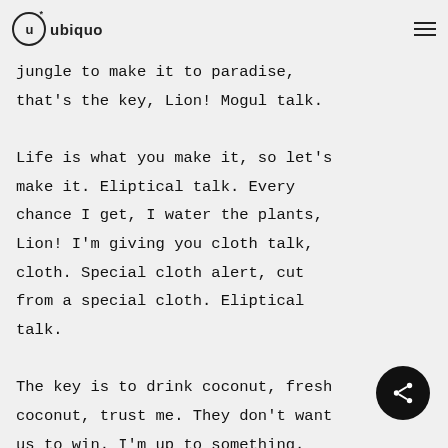u* ubiquo
jungle to make it to paradise, that's the key, Lion! Mogul talk. Life is what you make it, so let's make it. Eliptical talk. Every chance I get, I water the plants, Lion! I'm giving you cloth talk, cloth. Special cloth alert, cut from a special cloth. Eliptical talk.

The key is to drink coconut, fresh coconut, trust me. They don't want us to win. I'm up to something. Cloth talk. Celebrate success